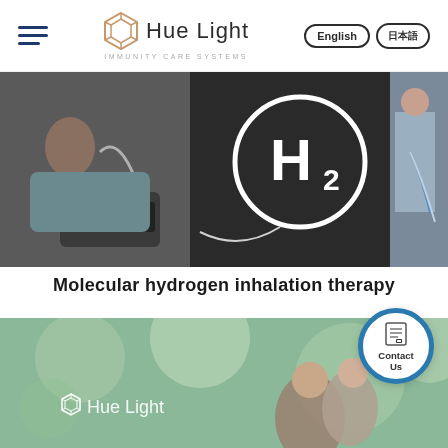Hue Light - Immunity Care Systems header with hamburger menu, logo, English and Japanese language buttons
[Figure (photo): Composite hero banner showing: left panel - woman lying down receiving hydrogen inhalation therapy with medical device; center panel - H2 molecular hydrogen logo (circle with H2 symbol) on dark background with medical tubing device; right panel - person in wheelchair receiving treatment]
Molecular hydrogen inhalation therapy
[Figure (photo): Second hero banner showing two elderly people outdoors in soft-focus bokeh background with Hue Light logo overlay and Contact Us button]
Contact Us